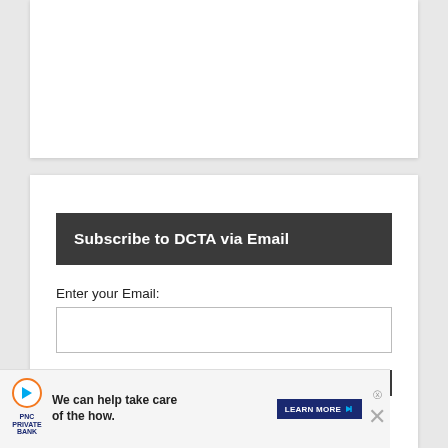Subscribe to DCTA via Email
Enter your Email:
[Figure (screenshot): Email input text box (empty form field)]
[Figure (screenshot): Dark submit button bar]
[Figure (infographic): PNC Private Bank advertisement: 'We can help take care of the how.' with LEARN MORE button and close X button]